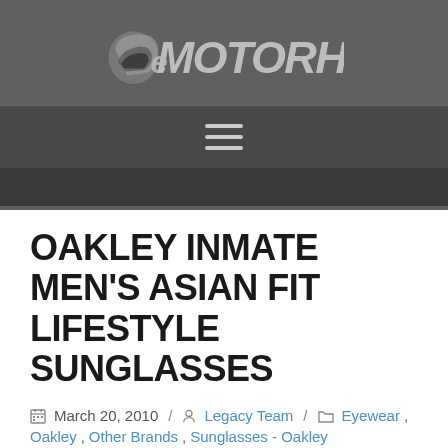[Figure (logo): eMotorhelmets logo — white stylized M with helmet and brand text on grey background]
OAKLEY INMATE MEN'S ASIAN FIT LIFESTYLE SUNGLASSES
March 20, 2010 / Legacy Team / Eyewear, Oakley, Other Brands, Sunglasses - Oakley